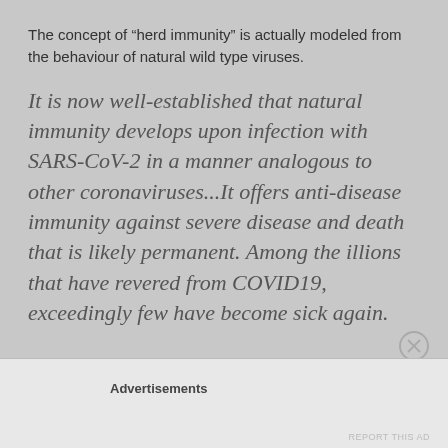The concept of "herd immunity" is actually modeled from the behaviour of natural wild type viruses.
It is now well-established that natural immunity develops upon infection with SARS-CoV-2 in a manner analogous to other coronaviruses...It offers anti-disease immunity against severe disease and death that is likely permanent. Among the illions that have revered from COVID19, exceedingly few have become sick again.
Advertisements